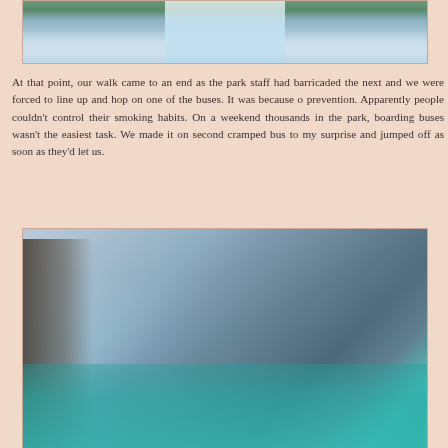[Figure (photo): Top portion of a waterfall photo — white rushing water cascading over rocks with green moss, cropped at top of page]
At that point, our walk came to an end as the park staff had barricaded the next and we were forced to line up and hop on one of the buses. It was because o prevention. Apparently people couldn't control their smoking habits. On a weekend thousands in the park, boarding buses wasn't the easiest task. We made it on second cramped bus to my surprise and jumped off as soon as they'd let us.
[Figure (photo): Landscape photo of a turquoise lake with reflections, large mountain cliff face in background, bare trees in foreground on left side, forested slopes on right]